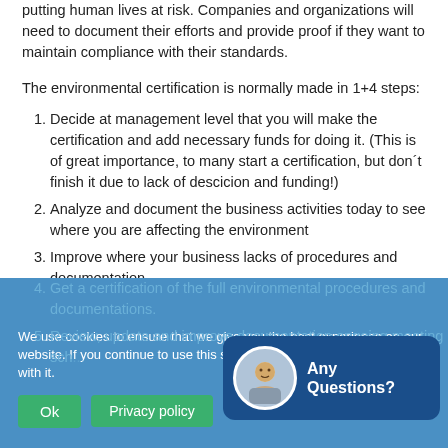putting human lives at risk. Companies and organizations will need to document their efforts and provide proof if they want to maintain compliance with their standards.
The environmental certification is normally made in 1+4 steps:
Decide at management level that you will make the certification and add necessary funds for doing it. (This is of great importance, to many start a certification, but don´t finish it due to lack of descicion and funding!)
Analyze and document the business activities today to see where you are affecting the environment
Improve where your business lacks of procedures and documentation.
Get a certification of the full environmental procedures and documentations.
Review, update and improve documentation ongoing meeting sch...
We use cookies to ensure that we give you the best experience on our website. If you continue to use this site we will assume you are happy with it.